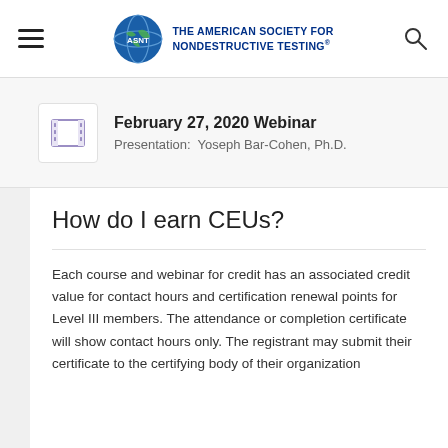THE AMERICAN SOCIETY FOR NONDESTRUCTIVE TESTING
February 27, 2020 Webinar
Presentation:  Yoseph Bar-Cohen, Ph.D.
How do I earn CEUs?
Each course and webinar for credit has an associated credit value for contact hours and certification renewal points for Level III members. The attendance or completion certificate will show contact hours only. The registrant may submit their certificate to the certifying body of their organization